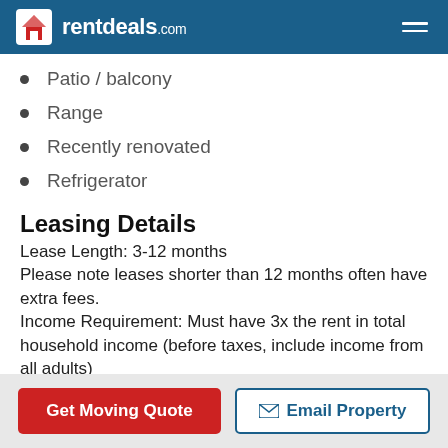rentdeals.com
Patio / balcony
Range
Recently renovated
Refrigerator
Leasing Details
Lease Length: 3-12 months
Please note leases shorter than 12 months often have extra fees.
Income Requirement: Must have 3x the rent in total household income (before taxes, include income from all adults)
Get Moving Quote | Email Property